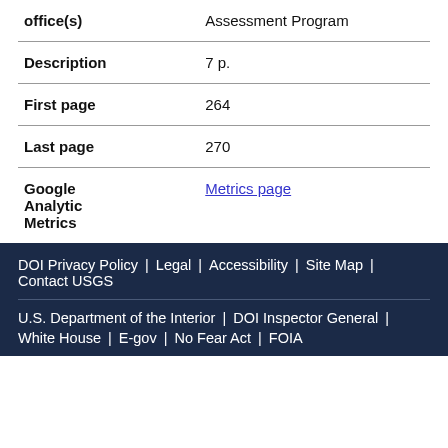| Field | Value |
| --- | --- |
| office(s) | Assessment Program |
| Description | 7 p. |
| First page | 264 |
| Last page | 270 |
| Google Analytic Metrics | Metrics page |
DOI Privacy Policy | Legal | Accessibility | Site Map | Contact USGS
U.S. Department of the Interior | DOI Inspector General | White House | E-gov | No Fear Act | FOIA